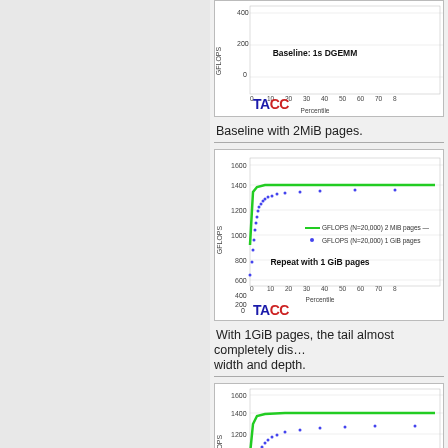[Figure (continuous-plot): Partial top chart showing GFLOPS vs Percentile baseline 1s DGEMM with TACC logo, cropped at top]
Baseline with 2MiB pages.
[Figure (continuous-plot): Chart showing GFLOPS (N=20,000) vs Percentile. Two lines: green for 2 MiB pages and blue dots for 1 GiB pages. Title: Repeat with 1 GiB pages. Y-axis 0-1600 GFLOPS. X-axis 0-80 Percentile. TACC logo at bottom left.]
With 1GiB pages, the tail almost completely dis… width and depth.
[Figure (continuous-plot): Chart showing GFLOPS (N=20,000) vs Percentile. Two lines: green for 2 MiB pages (top) and blue dots for 1 GiB pages (below). Y-axis 0-1600 GFLOPS range shown 800-1400. X-axis Percentile. TACC logo implied.]